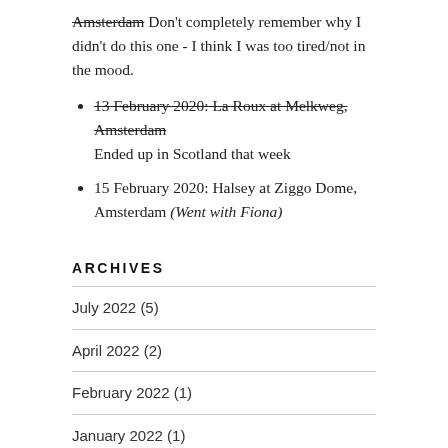Amsterdam Don't completely remember why I didn't do this one - I think I was too tired/not in the mood.
13 February 2020: La Roux at Melkweg, Amsterdam Ended up in Scotland that week
15 February 2020: Halsey at Ziggo Dome, Amsterdam (Went with Fiona)
ARCHIVES
July 2022 (5)
April 2022 (2)
February 2022 (1)
January 2022 (1)